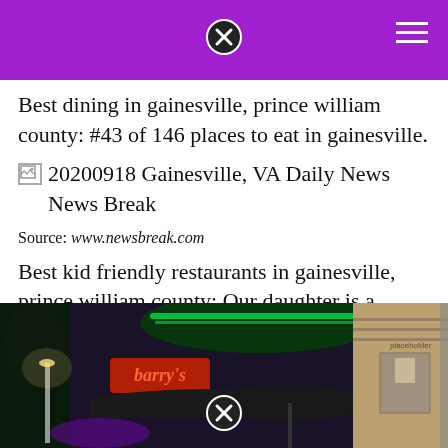Best dining in gainesville, prince william county: #43 of 146 places to eat in gainesville.
[Figure (other): Broken image placeholder: 20200918 Gainesville, VA Daily News News Break]
Source: www.newsbreak.com
Best kid friendly restaurants in gainesville, prince william county: Our daughter is a typical 1 and 1/2 year old.
[Figure (photo): Nighttime photo of a restaurant exterior with neon green signs, dark awnings, outdoor umbrella seating, and a light-colored building facade on the right.]